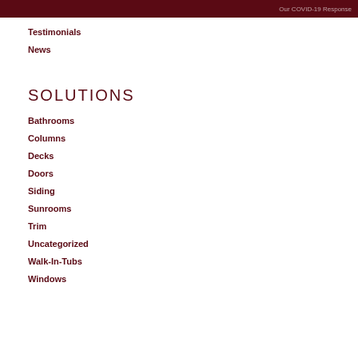Our COVID-19 Response
Testimonials
News
SOLUTIONS
Bathrooms
Columns
Decks
Doors
Siding
Sunrooms
Trim
Uncategorized
Walk-In-Tubs
Windows